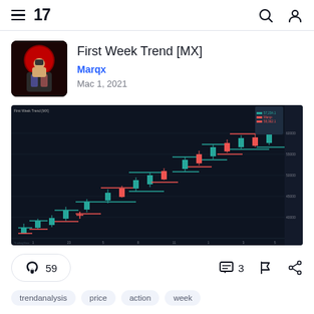TradingView navigation header with hamburger menu, logo, search and user icons
First Week Trend [MX]
Marqx
Mac 1, 2021
[Figure (screenshot): TradingView chart screenshot showing BTCUSD candlestick chart with First Week Trend indicator. Chart displays an uptrend with blue bullish candles and red bearish candles, with green and red horizontal lines marking weekly highs and lows. Price axis visible on right side. Chart background is dark navy blue.]
59
3
trendanalysis
price
action
week